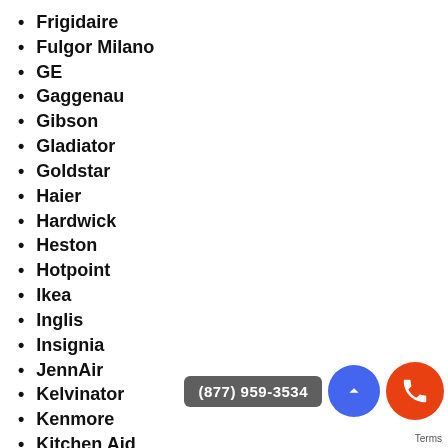Frigidaire
Fulgor Milano
GE
Gaggenau
Gibson
Gladiator
Goldstar
Haier
Hardwick
Heston
Hotpoint
Ikea
Inglis
Insignia
JennAir
Kelvinator
Kenmore
Kitchen Aid
KingsBottle
La Cornue
LG
Lynx
Lynx Professional
Magic Chef
Maytag